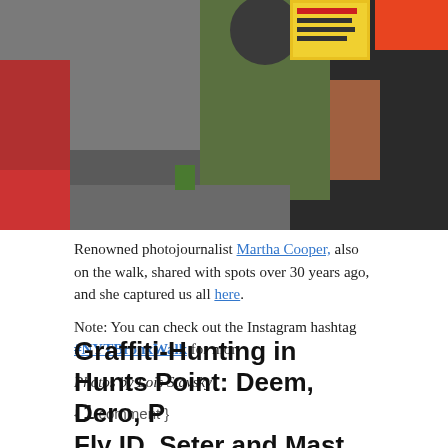[Figure (photo): Street scene photo showing people outdoors in an urban setting, partially cropped at top. Colorful signs visible in background.]
Renowned photojournalist Martha Cooper, also on the walk, shared with spots over 30 years ago, and she captured us all here.
Note: You can check out the Instagram hashtag #NYTBronxWalk for mor
Photos by Lois Stavsky
{ 1 comment }
Graffiti-Hunting in Hunts Point: Deem, Dero, P Fly ID, Seter and Mast
DECEMBER 24, 2014
A visit to the South Bronx neighborhood of Hunts Point this past Monday